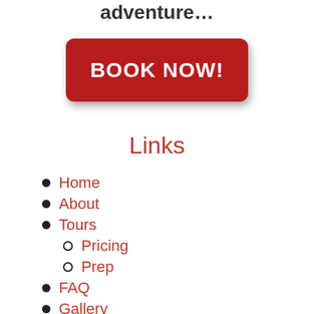adventure…
[Figure (other): Red rounded rectangle button with white bold text reading BOOK NOW!]
Links
Home
About
Tours
Pricing
Prep
FAQ
Gallery